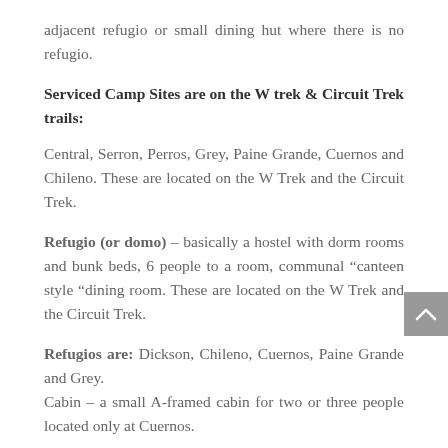adjacent refugio or small dining hut where there is no refugio.
Serviced Camp Sites are on the W trek & Circuit Trek trails:
Central, Serron, Perros, Grey, Paine Grande, Cuernos and Chileno. These are located on the W Trek and the Circuit Trek.
Refugio (or domo) – basically a hostel with dorm rooms and bunk beds, 6 people to a room, communal “canteen style ”dining room. These are located on the W Trek and the Circuit Trek.
Refugios are: Dickson, Chileno, Cuernos, Paine Grande and Grey.
Cabin – a small A-framed cabin for two or three people located only at Cuernos.